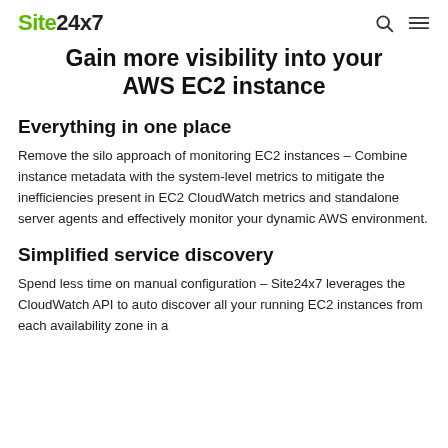Site24x7
Gain more visibility into your AWS EC2 instance
Everything in one place
Remove the silo approach of monitoring EC2 instances – Combine instance metadata with the system-level metrics to mitigate the inefficiencies present in EC2 CloudWatch metrics and standalone server agents and effectively monitor your dynamic AWS environment.
Simplified service discovery
Spend less time on manual configuration – Site24x7 leverages the CloudWatch API to auto discover all your running EC2 instances from each availability zone in a